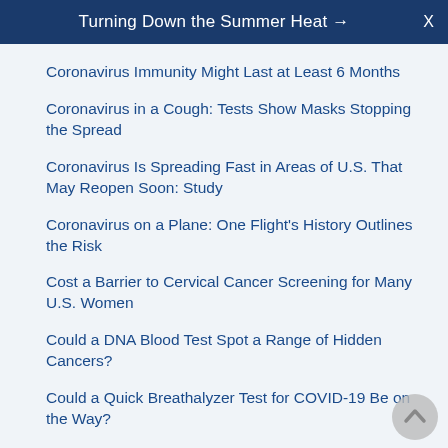Turning Down the Summer Heat → X
Coronavirus Immunity Might Last at Least 6 Months
Coronavirus in a Cough: Tests Show Masks Stopping the Spread
Coronavirus Is Spreading Fast in Areas of U.S. That May Reopen Soon: Study
Coronavirus on a Plane: One Flight's History Outlines the Risk
Cost a Barrier to Cervical Cancer Screening for Many U.S. Women
Could a DNA Blood Test Spot a Range of Hidden Cancers?
Could a Quick Breathalyzer Test for COVID-19 Be on the Way?
Could a Single Dose of the HPV Vaccine Be Enough?